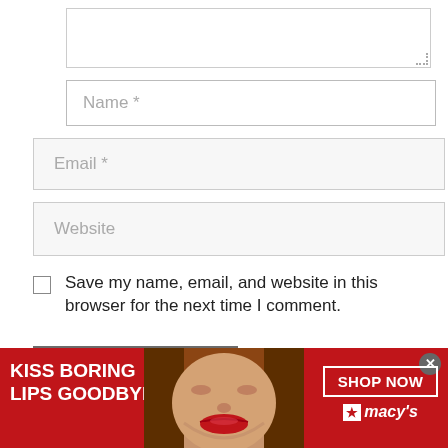[Figure (screenshot): Textarea input field (comment box) with resize handle at bottom right, partially shown at top of page]
Name *
Email *
Website
Save my name, email, and website in this browser for the next time I comment.
Post Comment
[Figure (photo): Macy's advertisement banner: red background with text 'KISS BORING LIPS GOODBYE', woman's face with red lipstick in center, 'SHOP NOW' button and Macy's star logo on right]